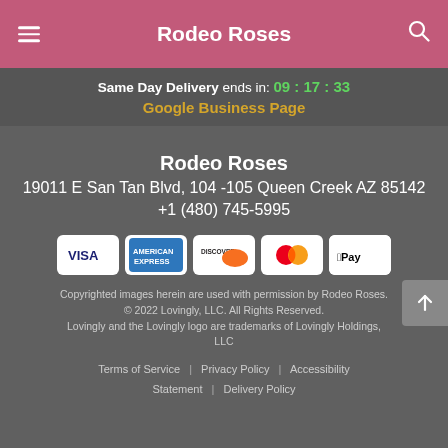Rodeo Roses
Same Day Delivery ends in: 09 : 17 : 33
Google Business Page
Rodeo Roses
19011 E San Tan Blvd, 104 -105 Queen Creek AZ 85142
+1 (480) 745-5995
[Figure (other): Payment method icons: VISA, American Express, Discover, Mastercard, Apple Pay]
Copyrighted images herein are used with permission by Rodeo Roses. © 2022 Lovingly, LLC. All Rights Reserved. Lovingly and the Lovingly logo are trademarks of Lovingly Holdings, LLC
Terms of Service | Privacy Policy | Accessibility Statement | Delivery Policy